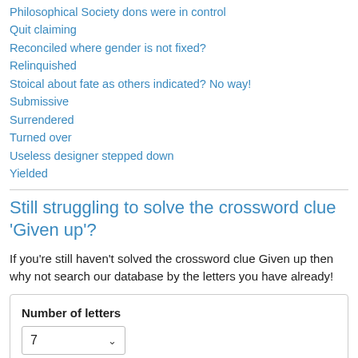Philosophical Society dons were in control
Quit claiming
Reconciled where gender is not fixed?
Relinquished
Stoical about fate as others indicated? No way!
Submissive
Surrendered
Turned over
Useless designer stepped down
Yielded
Still struggling to solve the crossword clue 'Given up'?
If you're still haven't solved the crossword clue Given up then why not search our database by the letters you have already!
Number of letters
7 ▼